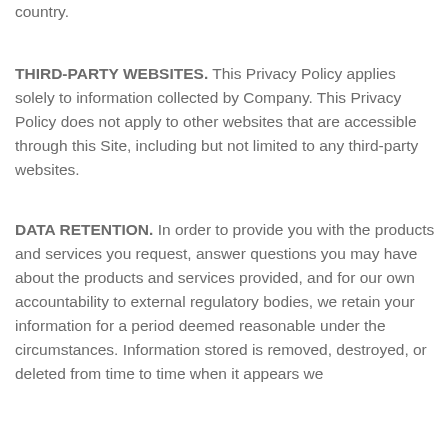country.
THIRD-PARTY WEBSITES. This Privacy Policy applies solely to information collected by Company. This Privacy Policy does not apply to other websites that are accessible through this Site, including but not limited to any third-party websites.
DATA RETENTION. In order to provide you with the products and services you request, answer questions you may have about the products and services provided, and for our own accountability to external regulatory bodies, we retain your information for a period deemed reasonable under the circumstances. Information stored is removed, destroyed, or deleted from time to time when it appears we